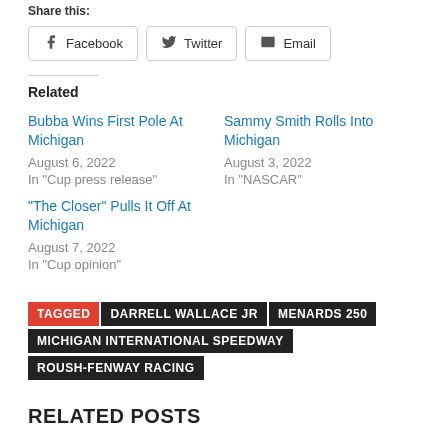Share this:
Facebook
Twitter
Email
Related
Bubba Wins First Pole At Michigan
August 6, 2022
In "Cup press release"
Sammy Smith Rolls Into Michigan
August 3, 2022
In "NASCAR"
“The Closer” Pulls It Off At Michigan
August 7, 2022
In "Cup opinion"
TAGGED  DARRELL WALLACE JR  MENARDS 250  MICHIGAN INTERNATIONAL SPEEDWAY  ROUSH-FENWAY RACING
RELATED POSTS